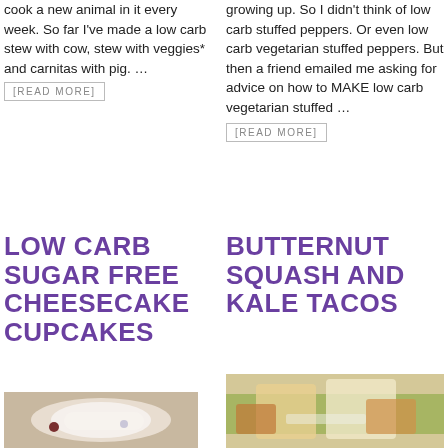cook a new animal in it every week. So far I've made a low carb stew with cow, stew with veggies* and carnitas with pig. … [READ MORE]
growing up. So I didn't think of low carb stuffed peppers. Or even low carb vegetarian stuffed peppers. But then a friend emailed me asking for advice on how to MAKE low carb vegetarian stuffed … [READ MORE]
LOW CARB SUGAR FREE CHEESECAKE CUPCAKES
BUTTERNUT SQUASH AND KALE TACOS
[Figure (photo): Photo of cheesecake cupcakes on a plate]
[Figure (photo): Photo of butternut squash and kale tacos]